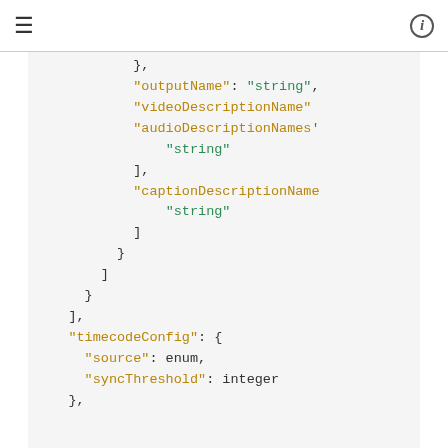≡  (i)
},
"outputName": "string",
"videoDescriptionName"
"audioDescriptionNames"
    "string"
],
"captionDescriptionName"
    "string"
]
}
]
},
],
"timecodeConfig": {
    "source": enum,
    "syncThreshold": integer
},